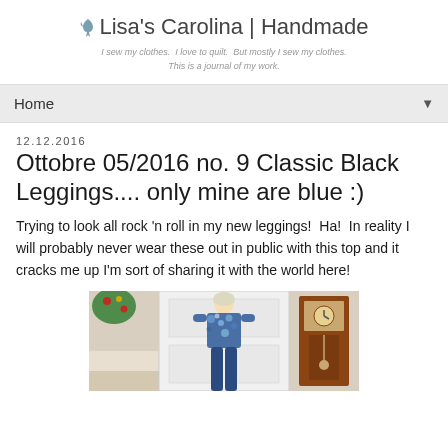Lisa's Carolina | Handmade
I sew my clothes. I love to quilt. But mostly I sew my clothes. This is a journal of my work.
Home
12.12.2016
Ottobre 05/2016 no. 9 Classic Black Leggings.... only mine are blue :)
Trying to look all rock 'n roll in my new leggings!  Ha!  In reality I will probably never wear these out in public with this top and it cracks me up I'm sort of sharing it with the world here!
[Figure (photo): Woman wearing blue floral top and blue leggings standing in front of a white door with Christmas decorations and a grandfather clock visible on the right]